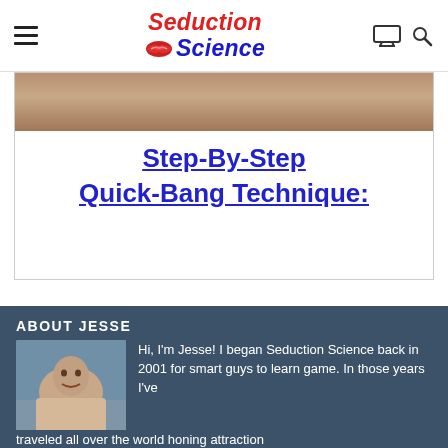Seduction Science
[Figure (photo): Partial view of a banner image with a link text]
Step-By-Step Quick-Bang Technique:
ABOUT JESSE
[Figure (photo): Photo of Jesse smiling at a beach, shirtless]
Hi, I'm Jesse! I began Seduction Science back in 2001 for smart guys to learn game. In those years I've traveled all over the world honing attraction technology and teaching workshops and bootcamps. But no matter what your troubles are with women... I probably had it worse!
Click here and I'll tell you more...